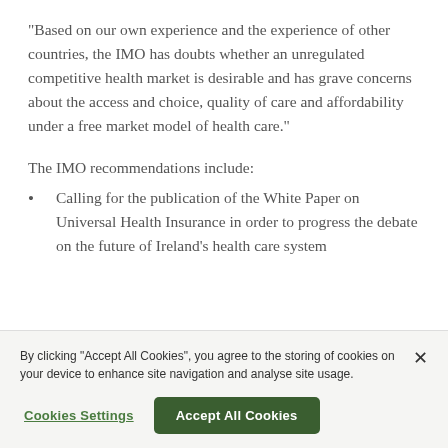“Based on our own experience and the experience of other countries, the IMO has doubts whether an unregulated competitive health market is desirable and has grave concerns about the access and choice, quality of care and affordability under a free market model of health care.”
The IMO recommendations include:
Calling for the publication of the White Paper on Universal Health Insurance in order to progress the debate on the future of Ireland’s health care system
By clicking “Accept All Cookies”, you agree to the storing of cookies on your device to enhance site navigation and analyse site usage.